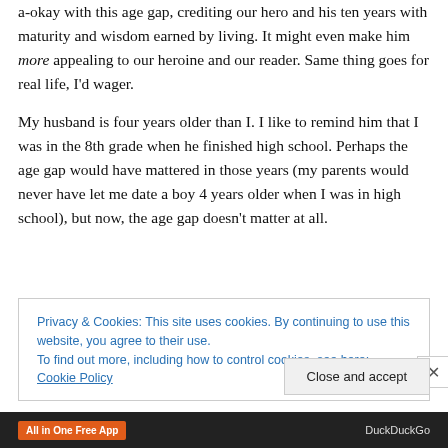a-okay with this age gap, crediting our hero and his ten years with maturity and wisdom earned by living. It might even make him more appealing to our heroine and our reader. Same thing goes for real life, I'd wager.
My husband is four years older than I. I like to remind him that I was in the 8th grade when he finished high school. Perhaps the age gap would have mattered in those years (my parents would never have let me date a boy 4 years older when I was in high school), but now, the age gap doesn't matter at all.
Privacy & Cookies: This site uses cookies. By continuing to use this website, you agree to their use.
To find out more, including how to control cookies, see here: Cookie Policy